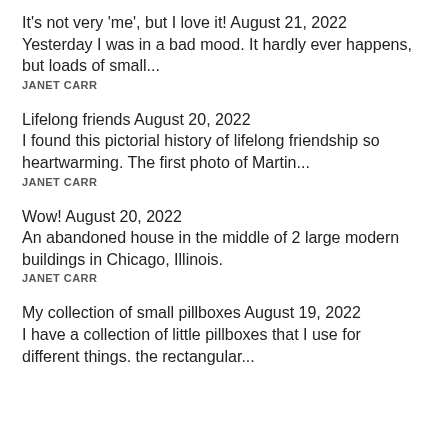It's not very 'me', but I love it! August 21, 2022
Yesterday I was in a bad mood. It hardly ever happens, but loads of small...
JANET CARR
Lifelong friends August 20, 2022
I found this pictorial history of lifelong friendship so heartwarming. The first photo of Martin...
JANET CARR
Wow! August 20, 2022
An abandoned house in the middle of 2 large modern buildings in Chicago, Illinois.
JANET CARR
My collection of small pillboxes August 19, 2022
I have a collection of little pillboxes that I use for different things. the rectangular...